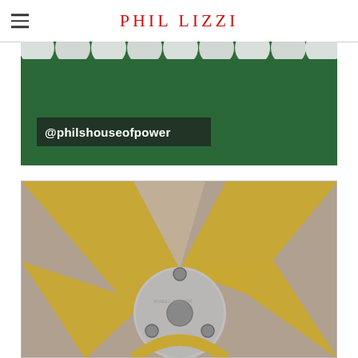PHIL LIZZI
[Figure (photo): Close-up photo of barbell weight plates on green felt surface with Instagram handle @philshouseofpower overlay]
[Figure (photo): Close-up photo of a gold-colored wheel rim with a silver wheel spacer/hub adapter in the center, on a grey background]